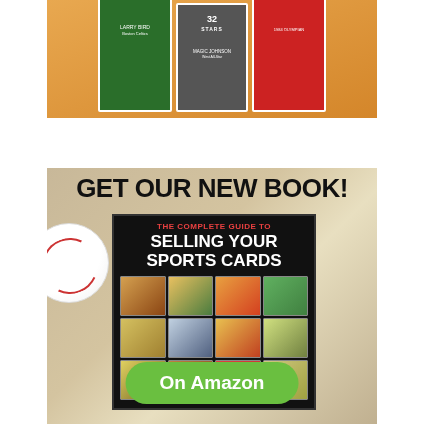[Figure (photo): Sports trading cards (Larry Bird, Magic Johnson, 1984 Olympian) on orange background]
[Figure (illustration): Book advertisement: 'GET OUR NEW BOOK! The Complete Guide to Selling Your Sports Cards' by All Vintage Cards, shown with baseball background and vintage card images, with green 'On Amazon' button]